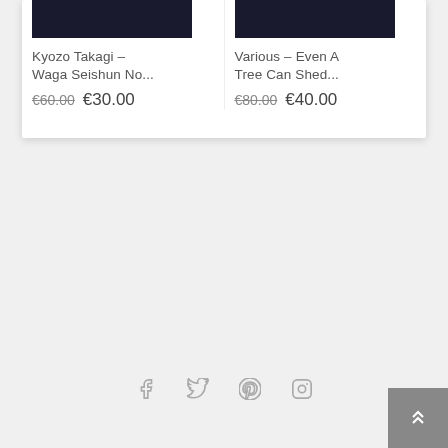[Figure (other): Product card - Kyozo Takagi - Waga Seishun No... with dark album image, original price €60.00, sale price €30.00]
[Figure (other): Product card - Various - Even A Tree Can Shed... with dark album image, original price €80.00, sale price €40.00]
[Figure (other): Footer social media icons: Facebook, Twitter, Pinterest, Instagram]